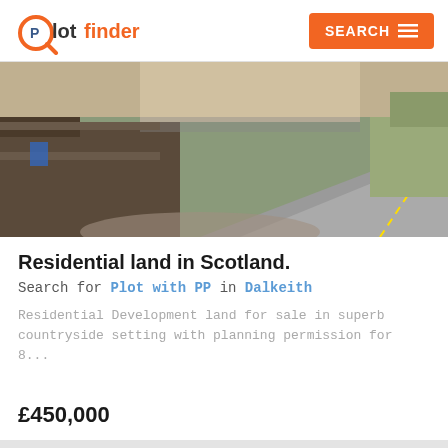Plotfinder | SEARCH
[Figure (photo): Photograph of a rural road with stone walls and a bridge overhang, taken in Scotland countryside]
Residential land in Scotland.
Search for Plot with PP in Dalkeith
Residential Development land for sale in superb countryside setting with planning permission for 8...
£450,000
[Figure (photo): Partial aerial photograph of a property or land area, shown at the bottom of the page]